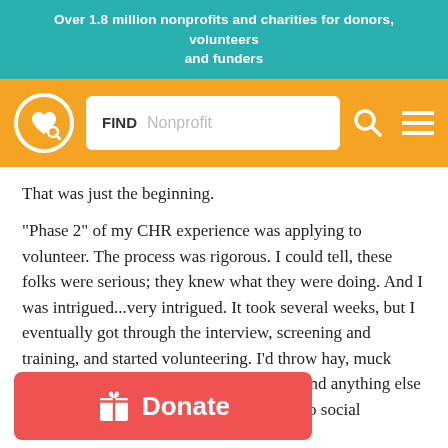Over 1.8 million nonprofits and charities for donors, volunteers and funders
[Figure (screenshot): Website navigation bar with logo (heart icon in circle), search box labeled FIND with placeholder Nonprofit, search icon, and hamburger menu icon on orange background]
That was just the beginning.
“Phase 2” of my CHR experience was applying to volunteer. The process was rigorous. I could tell, these folks were serious; they knew what they were doing. And I was intrigued...very intrigued. It took several weeks, but I eventually got through the interview, screening and training, and started volunteering. I’d throw hay, muck pens, feed grain, water pasture troughs—and anything else that cropped up. It’s physical work. It’s also social
[Figure (screenshot): Red Donate button with gift box icon]